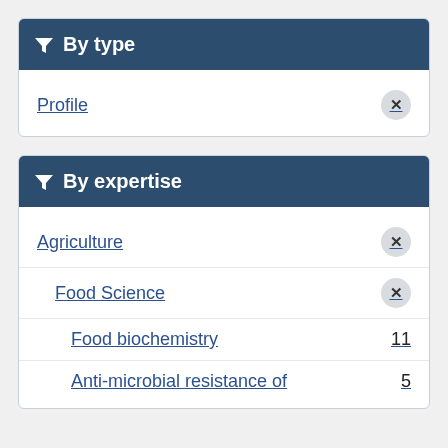By type
Profile
By expertise
Agriculture
Food Science
Food biochemistry 11
Anti-microbial resistance of 5